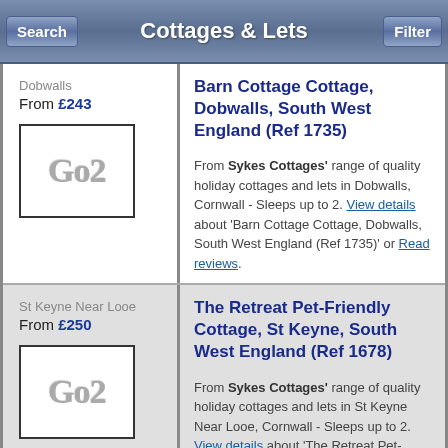Cottages & Lets
Dobwalls
From £243
[Figure (logo): Go2 logo in metallic silver text]
Barn Cottage Cottage, Dobwalls, South West England (Ref 1735)
From Sykes Cottages' range of quality holiday cottages and lets in Dobwalls, Cornwall - Sleeps up to 2. View details about 'Barn Cottage Cottage, Dobwalls, South West England (Ref 1735)' or Read reviews.
St Keyne Near Looe
From £250
[Figure (logo): Go2 logo in metallic silver text]
The Retreat Pet-Friendly Cottage, St Keyne, South West England (Ref 1678)
From Sykes Cottages' range of quality holiday cottages and lets in St Keyne Near Looe, Cornwall - Sleeps up to 2. View details about 'The Retreat Pet-Friendly Cottage, St Keyne, South West England (Ref